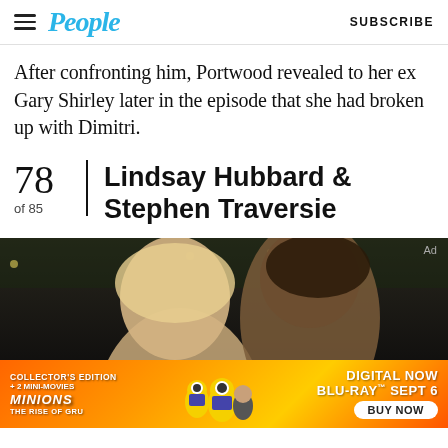People | SUBSCRIBE
After confronting him, Portwood revealed to her ex Gary Shirley later in the episode that she had broken up with Dimitri.
78 of 85 | Lindsay Hubbard & Stephen Traversie
[Figure (photo): Photo of Lindsay Hubbard and Stephen Traversie together at an outdoor event with string lights in background]
[Figure (other): Minions: The Rise of Gru advertisement banner - Collector's Edition + 2 Mini-Movies, Digital Now, Blu-Ray Sept 6, Buy Now]